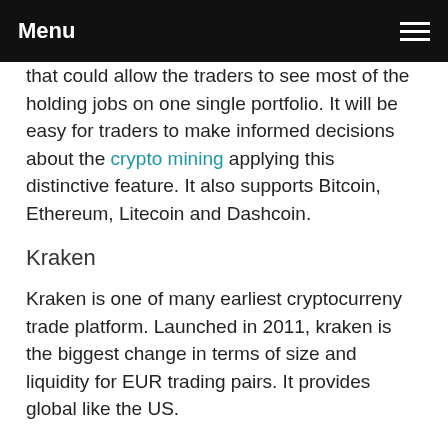Menu
that could allow the traders to see most of the holding jobs on one single portfolio. It will be easy for traders to make informed decisions about the crypto mining applying this distinctive feature. It also supports Bitcoin, Ethereum, Litecoin and Dashcoin.
Kraken
Kraken is one of many earliest cryptocurreny trade platform. Launched in 2011, kraken is the biggest change in terms of size and liquidity for EUR trading pairs. It provides global like the US.
Kraken presents a number of coins including Bitcoin Income, Ethereum, Monero, Augur, Litecoin and several more. Additionally, it helps